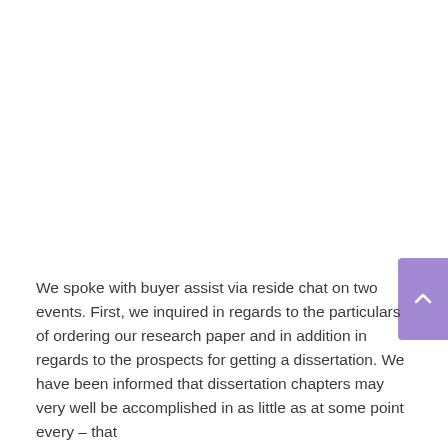We spoke with buyer assist via reside chat on two events. First, we inquired in regards to the particulars of ordering our research paper and in addition in regards to the prospects for getting a dissertation. We have been informed that dissertation chapters may very well be accomplished in as little as at some point every – that